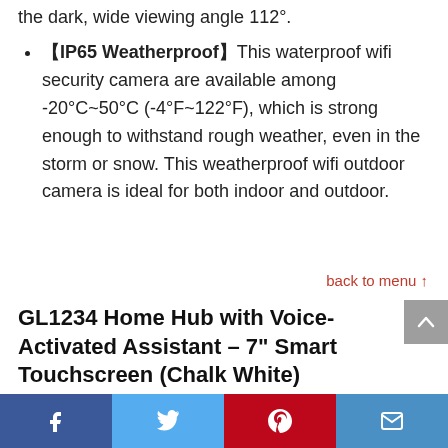the dark, wide viewing angle 112°.
【IP65 Weatherproof】This waterproof wifi security camera are available among -20°C~50°C (-4°F~122°F), which is strong enough to withstand rough weather, even in the storm or snow. This weatherproof wifi outdoor camera is ideal for both indoor and outdoor.
back to menu ↑
GL1234 Home Hub with Voice-Activated Assistant – 7" Smart Touchscreen (Chalk White)